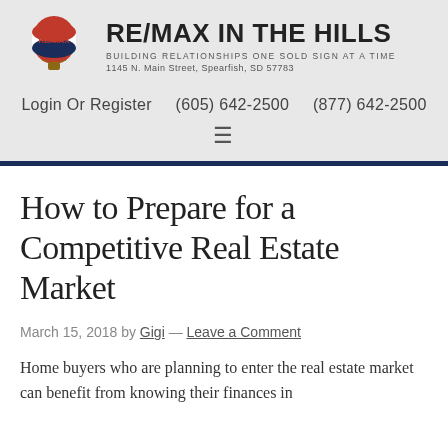RE/MAX IN THE HILLS
BUILDING RELATIONSHIPS ONE SOLD SIGN AT A TIME
1145 N. Main Street, Spearfish, SD 57783
Login Or Register    (605) 642-2500
(877) 642-2500
How to Prepare for a Competitive Real Estate Market
March 15, 2018 by Gigi — Leave a Comment
Home buyers who are planning to enter the real estate market can benefit from knowing their finances in